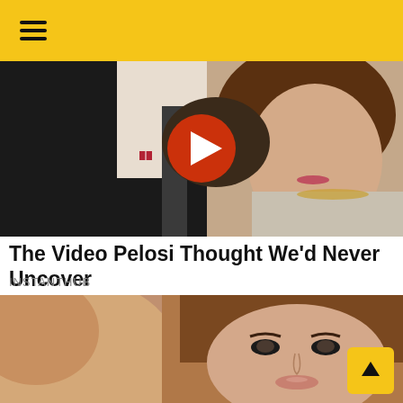Navigation bar with hamburger menu and dark mode toggle
[Figure (photo): Photo of two people, one in a suit and tie with an American flag pin, the other a woman with brown hair and gold jewelry. A YouTube play button overlay is visible in the center.]
The Video Pelosi Thought We'd Never Uncover
INSTANTHUB
[Figure (photo): Close-up photo of two people's faces, a man on the left (partially visible, side profile) and a woman on the right with brown hair and dark eye makeup looking at the camera.]